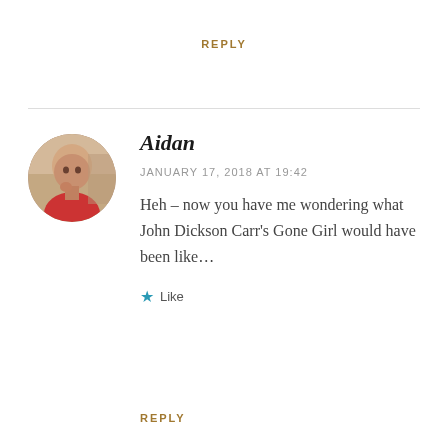REPLY
[Figure (photo): Circular avatar photo of Aidan, a bald man in a red shirt]
Aidan
JANUARY 17, 2018 AT 19:42
Heh – now you have me wondering what John Dickson Carr's Gone Girl would have been like…
Like
REPLY